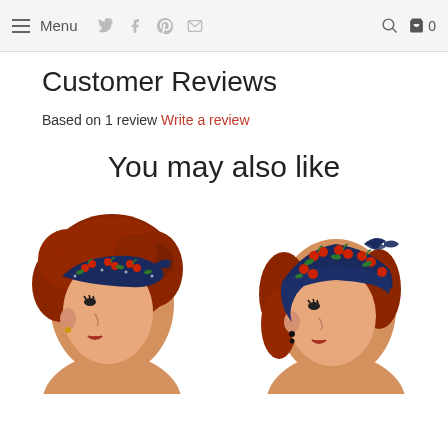Menu [social icons] [search] [cart] 0
Customer Reviews
Based on 1 review Write a review
You may also like
[Figure (photo): Two product photos side by side: left shows a woman with red hair wearing a navy cherry-print headband/bow; right shows the same model wearing a navy cherry-print head scarf tied on top.]